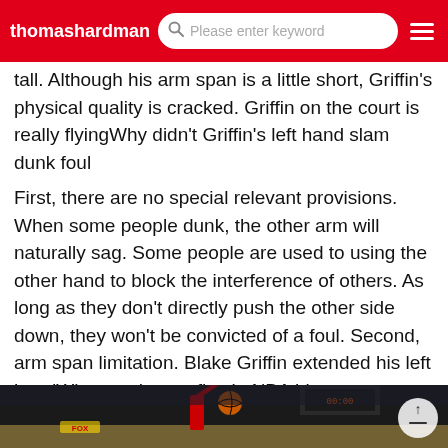thomashardman | Please enter keyword
tall. Although his arm span is a little short, Griffin's physical quality is cracked. Griffin on the court is really flyingWhy didn't Griffin's left hand slam dunk foul
First, there are no special relevant provisions. When some people dunk, the other arm will naturally sag. Some people are used to using the other hand to block the interference of others. As long as they don't directly push the other side down, they won't be convicted of a foul. Second, arm span limitation. Blake Griffin extended his left handWho are the top five in NBA history
Why can he be in the top fi
[Figure (photo): Basketball player in red uniform dunking or shooting in an arena with crowd in background]